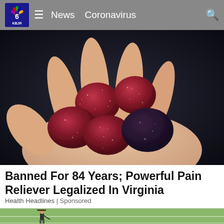KBJR 6 | News  Coronavirus
[Figure (photo): A hand holding several red sugar-coated gummy candy pieces against a dark background]
Banned For 84 Years; Powerful Pain Reliever Legalized In Virginia
Health Headlines | Sponsored
[Figure (photo): Partial view of a person on a golf course or green field, bottom strip]